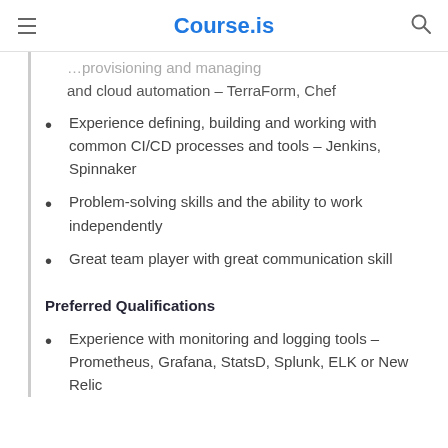Course.is
and cloud automation – TerraForm, Chef
Experience defining, building and working with common CI/CD processes and tools – Jenkins, Spinnaker
Problem-solving skills and the ability to work independently
Great team player with great communication skill
Preferred Qualifications
Experience with monitoring and logging tools – Prometheus, Grafana, StatsD, Splunk, ELK or New Relic